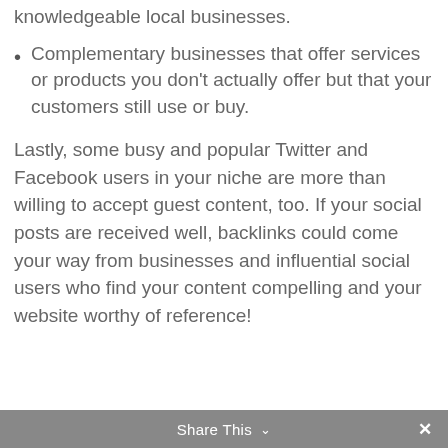knowledgeable local businesses.
Complementary businesses that offer services or products you don't actually offer but that your customers still use or buy.
Lastly, some busy and popular Twitter and Facebook users in your niche are more than willing to accept guest content, too. If your social posts are received well, backlinks could come your way from businesses and influential social users who find your content compelling and your website worthy of reference!
Share This ∨  ✕